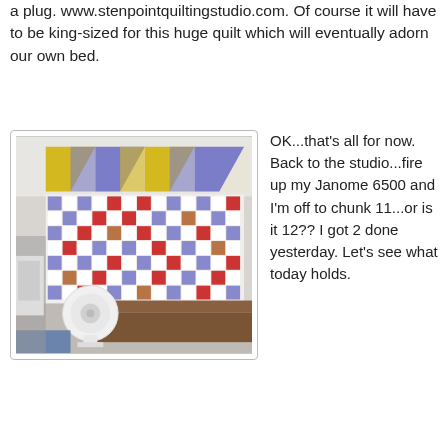a plug. www.stenpointquiltingstudio.com. Of course it will have to be king-sized for this huge quilt which will eventually adorn our own bed.
[Figure (photo): A quilting studio room with a large design wall covered in a colorful patchwork quilt layout featuring blue, red, white, yellow and brown fabric squares in a chain pattern. A small white fan sits on a brown table in the foreground.]
OK...that's all for now. Back to the studio...fire up my Janome 6500 and I'm off to chunk 11...or is it 12?? I got 2 done yesterday. Let's see what today holds.